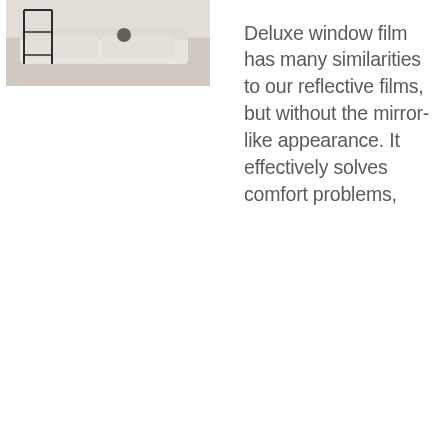[Figure (photo): Interior room photo showing a light-colored sofa/daybed with a small round dark cushion, positioned near a black metal frame structure, with light flooring visible]
Deluxe window film has many similarities to our reflective films, but without the mirror-like appearance. It effectively solves comfort problems,